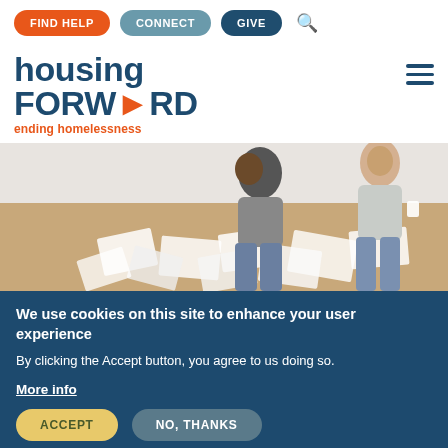FIND HELP | CONNECT | GIVE
housing FORWARD ending homelessness
[Figure (photo): Two people sitting on a wooden floor surrounded by papers and documents, looking through financial paperwork]
We use cookies on this site to enhance your user experience
By clicking the Accept button, you agree to us doing so.
More info
ACCEPT | NO, THANKS